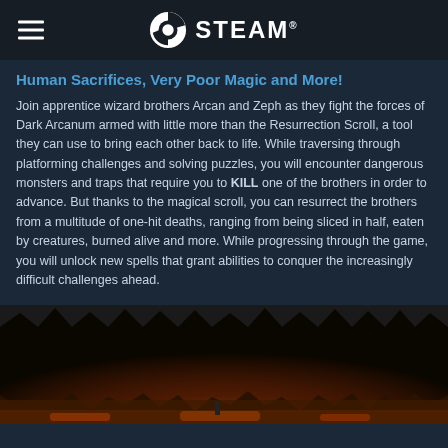STEAM
Human Sacrifices, Very Poor Magic and More!
Join apprentice wizard brothers Arcan and Zeph as they fight the forces of Dark Arcanum armed with little more than the Resurrection Scroll, a tool they can use to bring each other back to life. While traversing through platforming challenges and solving puzzles, you will encounter dangerous monsters and traps that require you to KILL one of the brothers in order to advance. But thanks to the magical scroll, you can resurrect the brothers from a multitude of one-hit deaths, ranging from being sliced in half, eaten by creatures, burned alive and more. While progressing through the game, you will unlock new spells that grant abilities to conquer the increasingly difficult challenges ahead.
[Figure (screenshot): Dark cave game screenshot with glowing orange/red lava lighting at the bottom, stalactites visible at the top of the cave interior.]